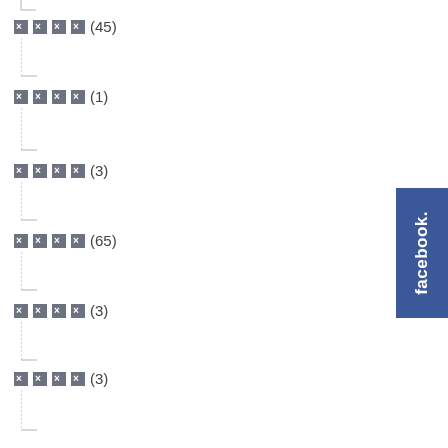XXXX (45)
XXXX (1)
XXXX (3)
XXXX (65)
XXXX (3)
XXXX (3)
XXXX (2)
[Figure (logo): Facebook logo tab on right side, blue background with white 'facebook.' text rotated vertically]